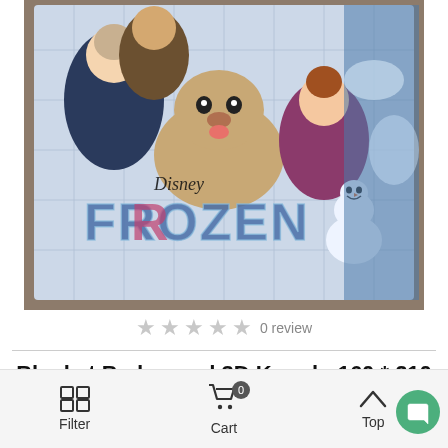[Figure (photo): Photo of a Disney Frozen branded blanket/bedspread with characters Elsa, Anna, Sven, Olaf, and Kristoff on a light background, laid flat on a wooden floor. Disney Frozen logo visible on the blanket.]
0 review
Blanket Bedspread 3D Kugulu 160 * 210
Filter  Cart 0  Top